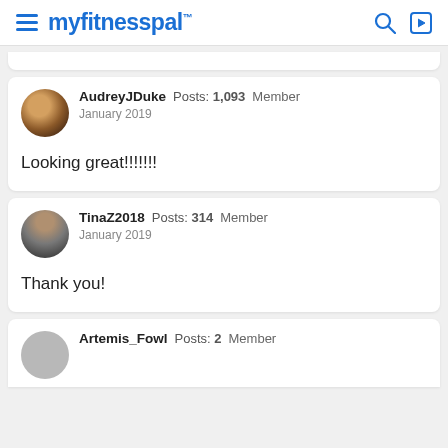myfitnesspal
AudreyJDuke  Posts: 1,093  Member  January 2019

Looking great!!!!!!!!!!
TinaZ2018  Posts: 314  Member  January 2019

Thank you!
Artemis_Fowl  Posts: 2  Member